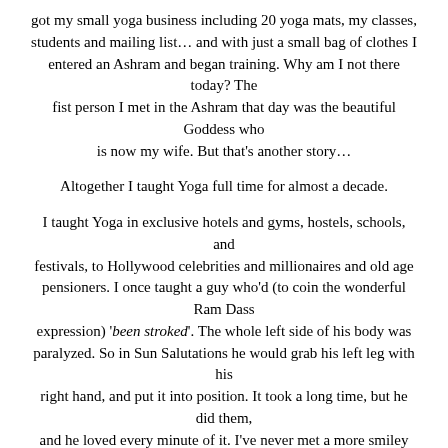got my small yoga business including 20 yoga mats, my classes, students and mailing list… and with just a small bag of clothes I entered an Ashram and began training. Why am I not there today? The fist person I met in the Ashram that day was the beautiful Goddess who is now my wife. But that's another story…
Altogether I taught Yoga full time for almost a decade.
I taught Yoga in exclusive hotels and gyms, hostels, schools, and festivals, to Hollywood celebrities and millionaires and old age pensioners. I once taught a guy who'd (to coin the wonderful Ram Dass expression) 'been stroked'. The whole left side of his body was paralyzed. So in Sun Salutations he would grab his left leg with his right hand, and put it into position. It took a long time, but he did them, and he loved every minute of it. I've never met a more smiley and determined person in my life, and it was a great privilege teaching him. The classes he was in were some of the most memorable I've ever taught.
I must have taught many thousands of people during those 10 years.